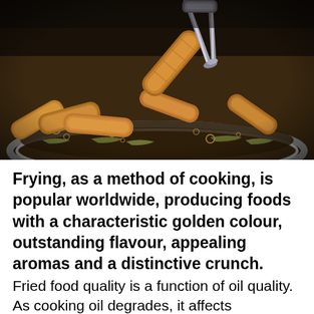[Figure (photo): Overhead close-up photo of spring rolls or egg rolls being fried in hot oil inside a metal bowl/wok, with a pair of metal tongs holding one roll above the others. Bubbling oil is visible, and the food items appear golden-brown and crispy.]
Frying, as a method of cooking, is popular worldwide, producing foods with a characteristic golden colour, outstanding flavour, appealing aromas and a distinctive crunch.
Fried food quality is a function of oil quality. As cooking oil degrades, it affects